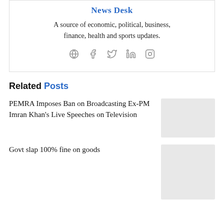News Desk
A source of economic, political, business, finance, health and sports updates.
[Figure (infographic): Social media icons: globe/website, Facebook, Twitter, LinkedIn, Instagram]
Related Posts
PEMRA Imposes Ban on Broadcasting Ex-PM Imran Khan’s Live Speeches on Television
Govt slap 100% fine on goods